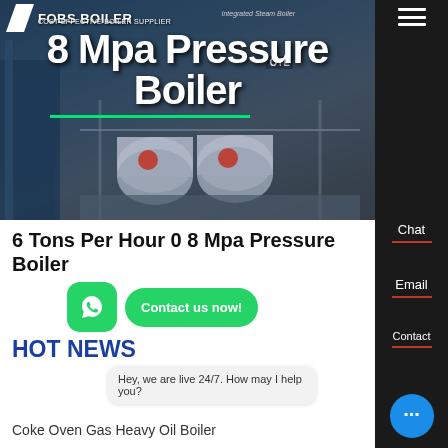[Figure (screenshot): Hero banner with boiler supplier logo, text '8 Mpa Pressure Boiler' overlaid on dark industrial background with boiler machinery]
8 Mpa Pressure Boiler
FOBS BOILER / COST-EFFECTIVE BOILER SUPPLIER / Integrated Steam Boiler
6 Tons Per Hour 0 8 Mpa Pressure Boiler
[Figure (screenshot): WhatsApp green button and 'Contact us now!' green pill button]
HOT NEWS
Hey, we are live 24/7. How may I help you?
Coke Oven Gas Heavy Oil Boiler